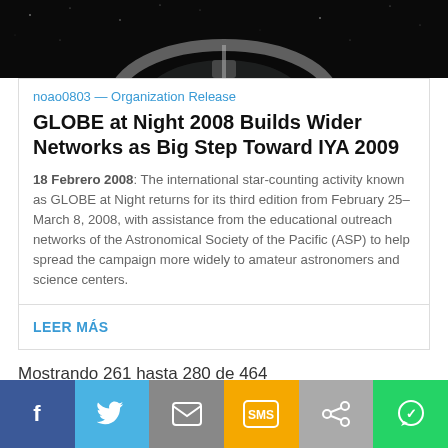[Figure (photo): Dark space/telescope image at top of page]
noao0803 — Organization Release
GLOBE at Night 2008 Builds Wider Networks as Big Step Toward IYA 2009
18 Febrero 2008: The international star-counting activity known as GLOBE at Night returns for its third edition from February 25–March 8, 2008, with assistance from the educational outreach networks of the Astronomical Society of the Pacific (ASP) to help spread the campaign more widely to amateur astronomers and science centers.
LEER MÁS
Mostrando 261 hasta 280 de 464
ANTERIOR   1   ...   11   12   13   14   15   16   17   ...   24
SIGUIENTE